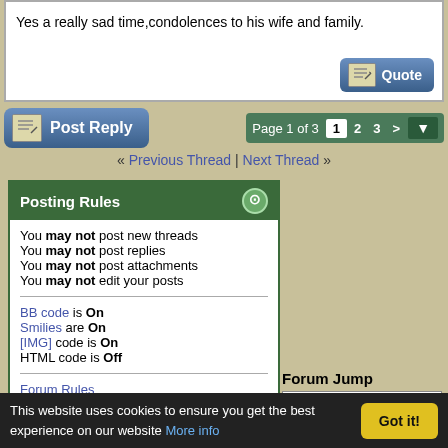Yes a really sad time,condolences to his wife and family.
Post Reply | Page 1 of 3 | 1 | 2 | 3 | >
« Previous Thread | Next Thread »
Posting Rules
You may not post new threads
You may not post replies
You may not post attachments
You may not edit your posts
BB code is On
Smilies are On
[IMG] code is On
HTML code is Off
Forum Rules
Forum Jump
General Topics.
All times are GMT. The time now is 03:33 AM.
Site Home Page - Archive - Top
This website uses cookies to ensure you get the best experience on our website More info